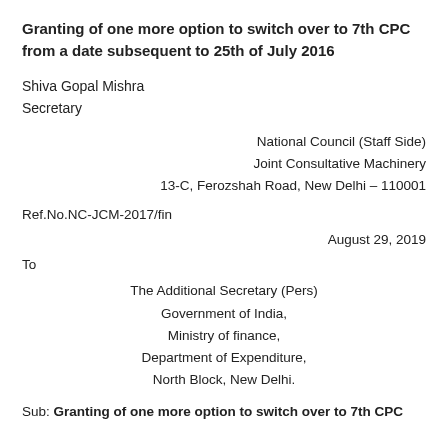Granting of one more option to switch over to 7th CPC from a date subsequent to 25th of July 2016
Shiva Gopal Mishra
Secretary
National Council (Staff Side)
Joint Consultative Machinery
13-C, Ferozshah Road, New Delhi – 110001
Ref.No.NC-JCM-2017/fin
August 29, 2019
To
The Additional Secretary (Pers)
Government of India,
Ministry of finance,
Department of Expenditure,
North Block, New Delhi.
Sub: Granting of one more option to switch over to 7th CPC